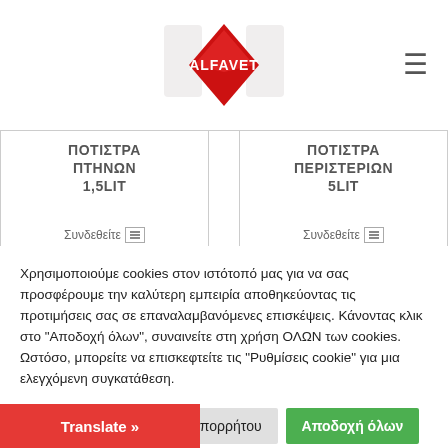[Figure (logo): ALFAVET logo — red diamond shape with white ALFAVET text inside]
ΠΟΤΙΣΤΡΑ ΠΤΗΝΩΝ 1,5LIT
Συνδεθείτε
ΠΟΤΙΣΤΡΑ ΠΕΡΙΣΤΕΡΙΩΝ 5LIT
Συνδεθείτε
Χρησιμοποιούμε cookies στον ιστότοπό μας για να σας προσφέρουμε την καλύτερη εμπειρία αποθηκεύοντας τις προτιμήσεις σας σε επαναλαμβανόμενες επισκέψεις. Κάνοντας κλικ στο "Αποδοχή όλων", συναινείτε στη χρήση ΟΛΩΝ των cookies. Ωστόσο, μπορείτε να επισκεφτείτε τις "Ρυθμίσεις cookie" για μια ελεγχόμενη συγκατάθεση.
Ρυθμίσεις
Πολιτική απορρήτου
Αποδοχή όλων
Απόρριψη
Translate »